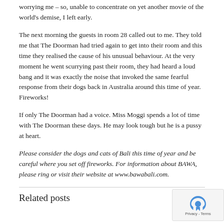worrying me – so, unable to concentrate on yet another movie of the world's demise, I left early.
The next morning the guests in room 28 called out to me. They told me that The Doorman had tried again to get into their room and this time they realised the cause of his unusual behaviour. At the very moment he went scurrying past their room, they had heard a loud bang and it was exactly the noise that invoked the same fearful response from their dogs back in Australia around this time of year. Fireworks!
If only The Doorman had a voice. Miss Moggi spends a lot of time with The Doorman these days. He may look tough but he is a pussy at heart.
Please consider the dogs and cats of Bali this time of year and be careful where you set off fireworks. For information about BAWA, please ring or visit their website at www.bawabali.com.
Related posts